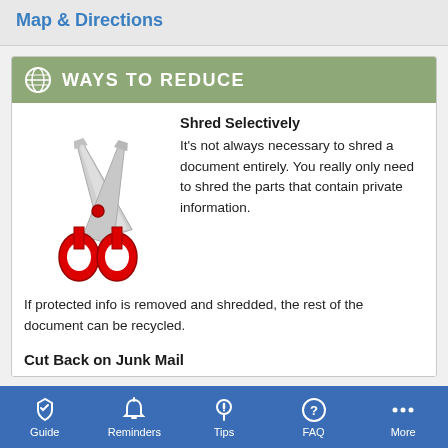Map & Directions
WAYS TO REDUCE
[Figure (illustration): Red-handled scissors icon]
Shred Selectively
It's not always necessary to shred a document entirely. You really only need to shred the parts that contain private information. If protected info is removed and shredded, the rest of the document can be recycled.
Cut Back on Junk Mail
Guide   Reminders   Tips   FAQ   More